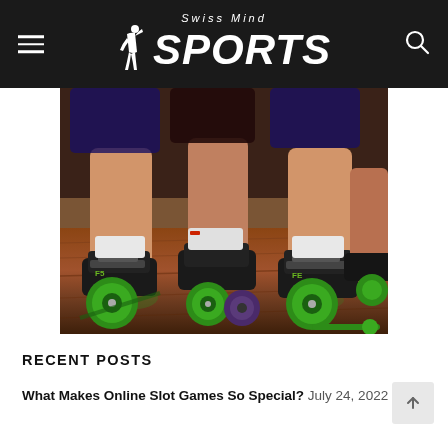Swiss Mind SPORTS
[Figure (photo): Close-up photo of speed skaters' feet wearing black inline speed skates with green wheels on a reflective wooden floor surface]
RECENT POSTS
What Makes Online Slot Games So Special? July 24, 2022